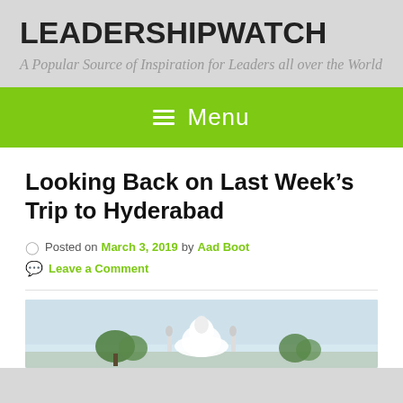LEADERSHIPWATCH
A Popular Source of Inspiration for Leaders all over the World
≡ Menu
Looking Back on Last Week's Trip to Hyderabad
Posted on March 3, 2019 by Aad Boot
Leave a Comment
[Figure (photo): Photograph of Hyderabad cityscape or landmark, showing a white domed structure and trees against a hazy sky]